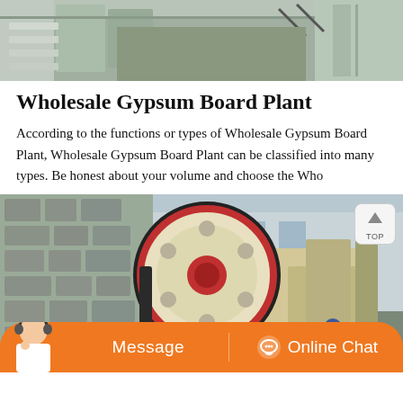[Figure (photo): Top portion of an industrial facility, showing gray metal structures and machinery from above.]
Wholesale Gypsum Board Plant
According to the functions or types of Wholesale Gypsum Board Plant, Wholesale Gypsum Board Plant can be classified into many types. Be honest about your volume and choose the Who
[Figure (photo): Large industrial machinery with a prominent circular flywheel/pulley with holes, mounted outdoors near a stone building. A person in blue is visible in the background. A 'TOP' button is overlaid in the top right corner.]